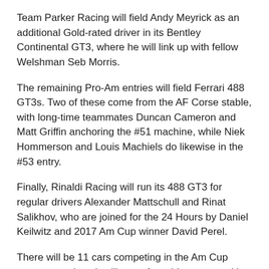Team Parker Racing will field Andy Meyrick as an additional Gold-rated driver in its Bentley Continental GT3, where he will link up with fellow Welshman Seb Morris.
The remaining Pro-Am entries will field Ferrari 488 GT3s. Two of these come from the AF Corse stable, with long-time teammates Duncan Cameron and Matt Griffin anchoring the #51 machine, while Niek Hommerson and Louis Machiels do likewise in the #53 entry.
Finally, Rinaldi Racing will run its 488 GT3 for regular drivers Alexander Mattschull and Rinat Salikhov, who are joined for the 24 Hours by Daniel Keilwitz and 2017 Am Cup winner David Perel.
There will be 11 cars competing in the Am Cup category and each will run a four-driver crew, taking advantage of the opportunity to add a Silver-graded competitor.
The Garage 59 trio of Alexander West, Chris Harris and